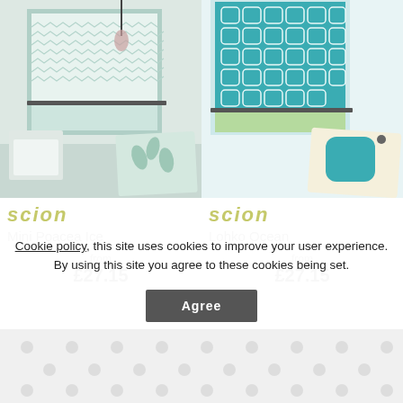[Figure (photo): Left product: Scion Mini Poacea Ice roller blind with mint/white chevron pattern, room setting with fabric swatch]
scion
Mini Poacea Ice
[Figure (photo): Right product: Scion Lohko Ocean roller blind with teal geometric square pattern, room setting with fabric swatch]
scion
Lohko Ocean
from
£27.15
from
£27.15
Cookie policy, this site uses cookies to improve your user experience. By using this site you agree to these cookies being set.
Agree